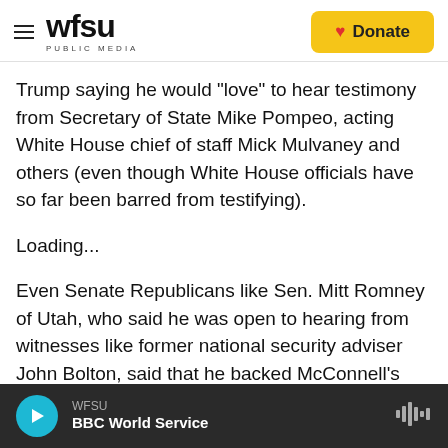WFSU PUBLIC MEDIA | Donate
Trump saying he would "love" to hear testimony from Secretary of State Mike Pompeo, acting White House chief of staff Mick Mulvaney and others (even though White House officials have so far been barred from testifying).
Loading...
Even Senate Republicans like Sen. Mitt Romney of Utah, who said he was open to hearing from witnesses like former national security adviser John Bolton, said that he backed McConnell's resolution and that "if attempts are made to vote
WFSU
BBC World Service